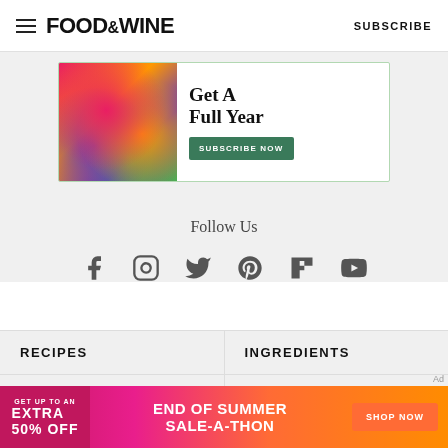FOOD & WINE | SUBSCRIBE
[Figure (advertisement): Food & Wine magazine subscription ad with purple burger image. Text: Get A Full Year. Button: SUBSCRIBE NOW]
Follow Us
[Figure (infographic): Social media icons: Facebook, Instagram, Twitter, Pinterest, Flipboard, YouTube]
RECIPES
INGREDIENTS
WINE
DRINKS
[Figure (advertisement): End of Summer Sale-A-Thon ad. Left: GET UP TO AN EXTRA 50% OFF. Middle: END OF SUMMER SALE-A-THON. Right: SHOP NOW button]